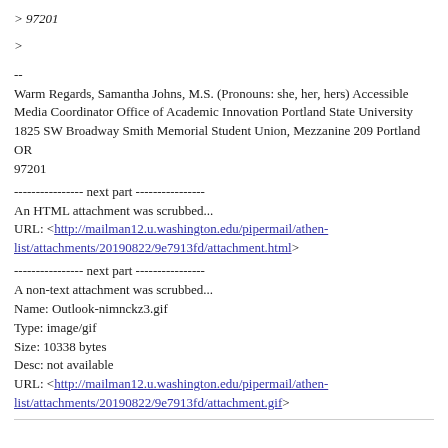> 97201
>
--
Warm Regards, Samantha Johns, M.S. (Pronouns: she, her, hers) Accessible
Media Coordinator Office of Academic Innovation Portland State University
1825 SW Broadway Smith Memorial Student Union, Mezzanine 209 Portland OR
97201
---------------- next part ----------------
An HTML attachment was scrubbed...
URL: <http://mailman12.u.washington.edu/pipermail/athen-list/attachments/20190822/9e7913fd/attachment.html>
---------------- next part ----------------
A non-text attachment was scrubbed...
Name: Outlook-nimnckz3.gif
Type: image/gif
Size: 10338 bytes
Desc: not available
URL: <http://mailman12.u.washington.edu/pipermail/athen-list/attachments/20190822/9e7913fd/attachment.gif>